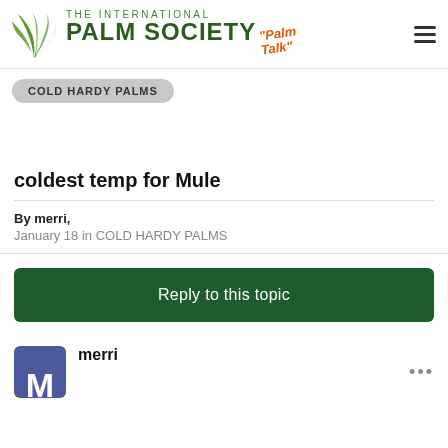THE INTERNATIONAL PALM SOCIETY "Palm Talk"
COLD HARDY PALMS
coldest temp for Mule
By merri,
January 18 in COLD HARDY PALMS
Reply to this topic
merri